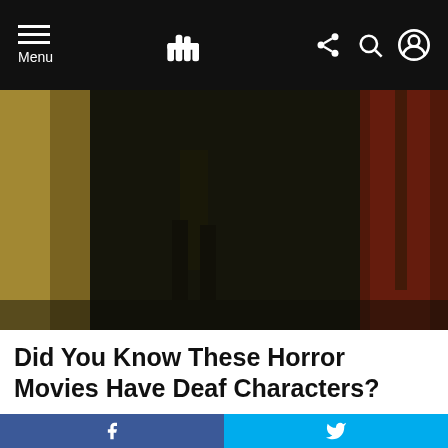Menu | [logo icon] | [share] [search] [profile]
[Figure (photo): Dark moody horror movie scene showing legs/lower body of a person standing outdoors near a red door, yellowish light on left side]
Did You Know These Horror Movies Have Deaf Characters?
OUR PICKS
[Figure (photo): Black and white group photo of several children/young people standing together, with a red notification badge showing '1' overlaid]
f [Facebook share] | [Twitter share]